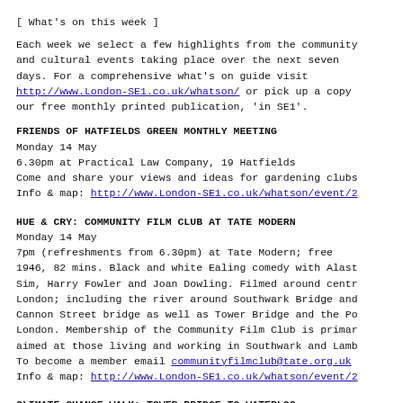[ What's on this week ]
Each week we select a few highlights from the community and cultural events taking place over the next seven days. For a comprehensive what's on guide visit http://www.London-SE1.co.uk/whatson/ or pick up a copy our free monthly printed publication, 'in SE1'.
FRIENDS OF HATFIELDS GREEN MONTHLY MEETING
Monday 14 May
6.30pm at Practical Law Company, 19 Hatfields
Come and share your views and ideas for gardening clubs
Info & map: http://www.London-SE1.co.uk/whatson/event/2
HUE & CRY: COMMUNITY FILM CLUB AT TATE MODERN
Monday 14 May
7pm (refreshments from 6.30pm) at Tate Modern; free
1946, 82 mins. Black and white Ealing comedy with Alast
Sim, Harry Fowler and Joan Dowling. Filmed around centr
London; including the river around Southwark Bridge and
Cannon Street bridge as well as Tower Bridge and the Po
London. Membership of the Community Film Club is primar
aimed at those living and working in Southwark and Lamb
To become a member email communityfilmclub@tate.org.uk
Info & map: http://www.London-SE1.co.uk/whatson/event/2
CLIMATE CHANGE WALK: TOWER BRIDGE TO WATERLOO